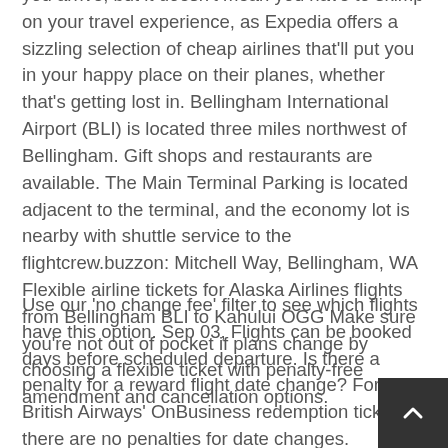you arrive, but it doesn't mean you have to skimp on your travel experience, as Expedia offers a sizzling selection of cheap airlines that'll put you in your happy place on their planes, whether that's getting lost in. Bellingham International Airport (BLI) is located three miles northwest of Bellingham. Gift shops and restaurants are available. The Main Terminal Parking is located adjacent to the terminal, and the economy lot is nearby with shuttle service to the flightcrew.buzzon: Mitchell Way, Bellingham, WA Flexible airline tickets for Alaska Airlines flights from Bellingham BLI to Kahului OGG Make sure you're not out of pocket if plans change by choosing a flexible ticket with penalty-free amendment and cancellation options.
Use our 'no change fee' filter to see which flights have this option. Sep 03, Flights can be booked days before scheduled departure. Is there a penalty for a reward flight date change? For British Airways' OnBusiness redemption tickets, there are no penalties for date changes.
For an upgrade with OnBusiness points, the underlying fare must still apply. Service fees are applicable for changes made by